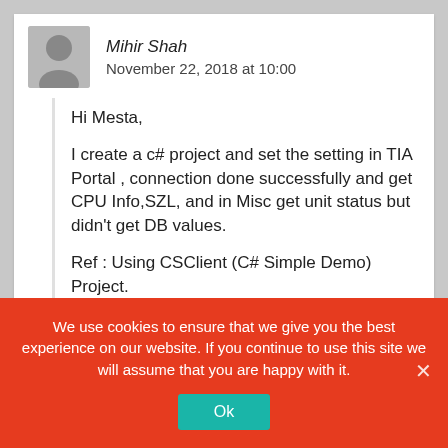Mihir Shah
November 22, 2018 at 10:00
Hi Mesta,

I create a c# project and set the setting in TIA Portal , connection done successfully and get CPU Info,SZL, and in Misc get unit status but didn't get DB values.

Ref : Using CSClient (C# Simple Demo) Project.

Error Like
ISO : invalid buffer passed to send/receive
ISO : Invalid PDU received
CPU...
We use cookies to ensure that we give you the best experience on our website. If you continue to use this site we will assume that you are happy with it.